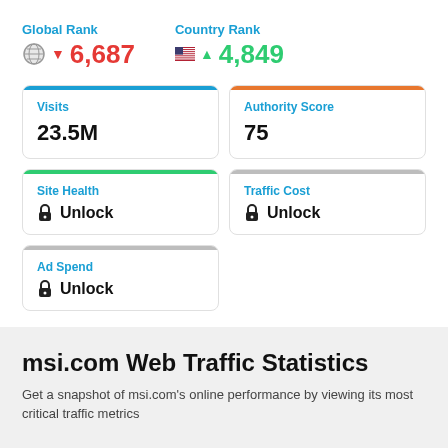Global Rank
▼ 6,687
Country Rank
▲ 4,849
Visits
23.5M
Authority Score
75
Site Health
🔒 Unlock
Traffic Cost
🔒 Unlock
Ad Spend
🔒 Unlock
msi.com Web Traffic Statistics
Get a snapshot of msi.com's online performance by viewing its most critical traffic metrics